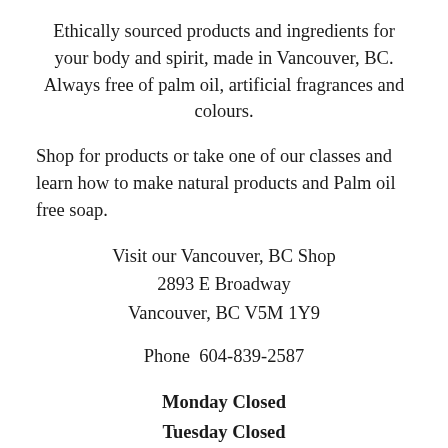Ethically sourced products and ingredients for your body and spirit, made in Vancouver, BC. Always free of palm oil, artificial fragrances and colours.
Shop for products or take one of our classes and learn how to make natural products and Palm oil free soap.
Visit our Vancouver, BC Shop
2893 E Broadway
Vancouver, BC V5M 1Y9
Phone  604-839-2587
Monday Closed
Tuesday Closed